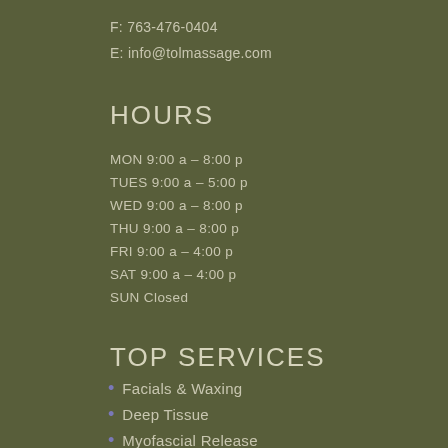F: 763-476-0404
E: info@tolmassage.com
HOURS
MON 9:00 a – 8:00 p
TUES 9:00 a – 5:00 p
WED 9:00 a – 8:00 p
THU 9:00 a – 8:00 p
FRI 9:00 a – 4:00 p
SAT 9:00 a – 4:00 p
SUN Closed
TOP SERVICES
Facials & Waxing
Deep Tissue
Myofascial Release